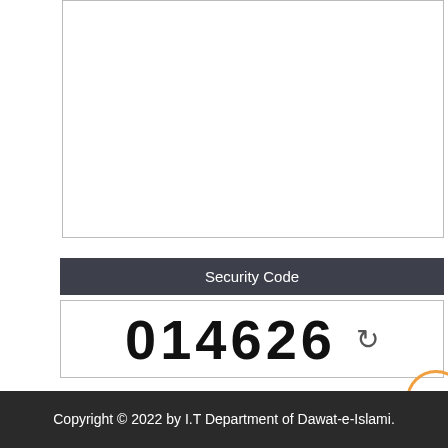[Figure (screenshot): A form textarea box (empty white input area with border) at the top of the page]
Security Code
[Figure (screenshot): Security code display box showing '014626' with a refresh icon]
[Figure (screenshot): Orange circle partially visible on right edge]
[Figure (screenshot): Empty text input field for entering the security code]
Post Comment
Copyright © 2022 by I.T Department of Dawat-e-Islami.